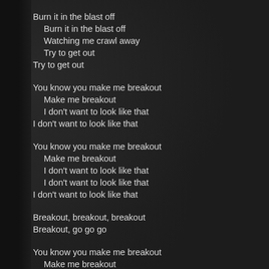Burn it in the blast off
  Burn it in the blast off
  Watching me crawl away
  Try to get out
Try to get out
You know you make me breakout
  Make me breakout
  I don't want to look like that
I don't want to look like that
You know you make me breakout
  Make me breakout
  I don't want to look like that
  I don't want to look like that
I don't want to look like that
Breakout, breakout, breakout
Breakout, go go go
You know you make me breakout
  Make me breakout
  I don't want to look like that
I don't want to look like that
You know you make me breakout
  Make me breakout